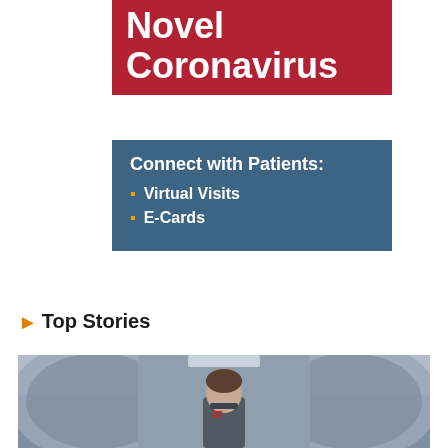Novel Coronavirus
Connect with Patients:
Virtual Visits
E-Cards
Top Stories
[Figure (photo): A person standing in front of medical imaging equipment (MRI or CT scanner arc visible), indoors in a clinical setting.]